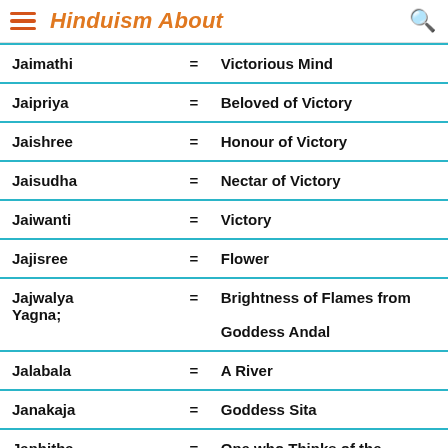Hinduism About
| Name | = | Meaning |
| --- | --- | --- |
| Jaimathi | = | Victorious Mind |
| Jaipriya | = | Beloved of Victory |
| Jaishree | = | Honour of Victory |
| Jaisudha | = | Nectar of Victory |
| Jaiwanti | = | Victory |
| Jajisree | = | Flower |
| Jajwalya Yagna; | = | Brightness of Flames from Goddess Andal |
| Jalabala | = | A River |
| Janakaja | = | Goddess Sita |
| Janhitha Welfare of Men | = | One who Thinks of the |